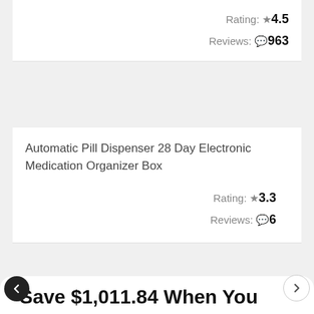Rating: ★4.5
Reviews: 🗨963
Automatic Pill Dispenser 28 Day Electronic Medication Organizer Box
Rating: ★3.3
Reviews: 🗨6
Save $1,011.84 When You